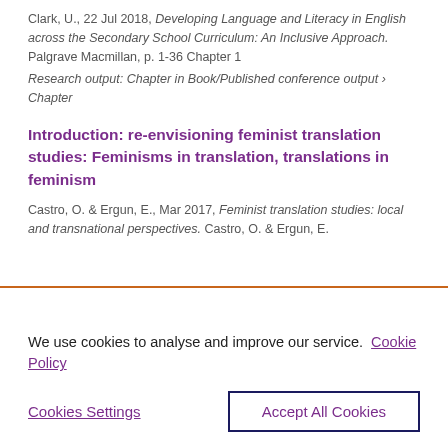Clark, U., 22 Jul 2018, Developing Language and Literacy in English across the Secondary School Curriculum: An Inclusive Approach. Palgrave Macmillan, p. 1-36 Chapter 1
Research output: Chapter in Book/Published conference output › Chapter
Introduction: re-envisioning feminist translation studies: Feminisms in translation, translations in feminism
Castro, O. & Ergun, E., Mar 2017, Feminist translation studies: local and transnational perspectives. Castro, O. & Ergun, E.
We use cookies to analyse and improve our service. Cookie Policy
Cookies Settings
Accept All Cookies